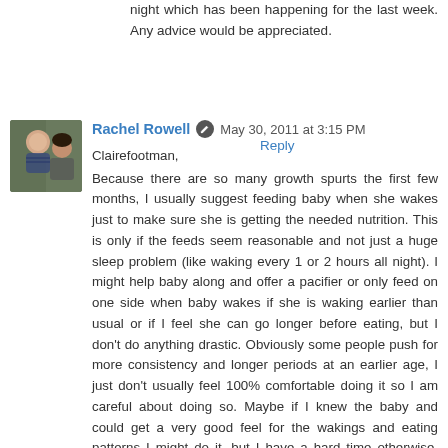night which has been happening for the last week. Any advice would be appreciated.
Reply
Rachel Rowell  May 30, 2011 at 3:15 PM
Clairefootman,
Because there are so many growth spurts the first few months, I usually suggest feeding baby when she wakes just to make sure she is getting the needed nutrition. This is only if the feeds seem reasonable and not just a huge sleep problem (like waking every 1 or 2 hours all night). I might help baby along and offer a pacifier or only feed on one side when baby wakes if she is waking earlier than usual or if I feel she can go longer before eating, but I don't do anything drastic. Obviously some people push for more consistency and longer periods at an earlier age, I just don't usually feel 100% comfortable doing it so I am careful about doing so. Maybe if I knew the baby and could get a very good feel for the wakings and eating patterns I might do it, but I have a hard time otherwise. Maybe if you going in showed some improvement, but since the wakings are